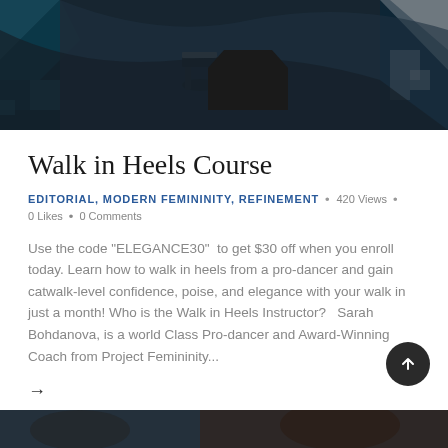[Figure (photo): Close-up photo of a person wearing high heel sandals, dark background with geometric pattern]
Walk in Heels Course
EDITORIAL, MODERN FEMININITY, REFINEMENT  •  420 Views  •  0 Likes  •  0 Comments
Use the code "ELEGANCE30"  to get $30 off when you enroll today. Learn how to walk in heels from a pro-dancer and gain catwalk-level confidence, poise, and elegance with your walk in just a month! Who is the Walk in Heels Instructor?   Sarah Bohdanova, is a world Class Pro-dancer and Award-Winning Coach from Project Femininity...
→
[Figure (photo): Partial photo visible at bottom of page]